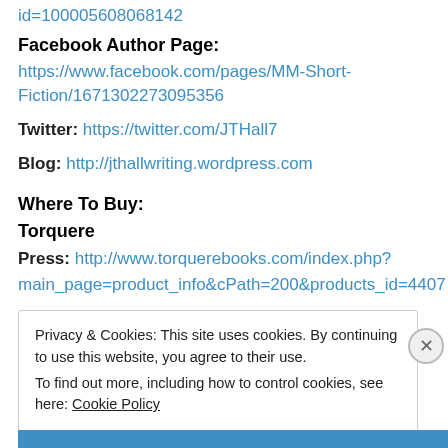id=100005608068142
Facebook Author Page:
https://www.facebook.com/pages/MM-Short-Fiction/1671302273095356
Twitter: https://twitter.com/JTHall7
Blog: http://jthallwriting.wordpress.com
Where To Buy:
Torquere
Press: http://www.torquerebooks.com/index.php?main_page=product_info&cPath=200&products_id=4407
Privacy & Cookies: This site uses cookies. By continuing to use this website, you agree to their use. To find out more, including how to control cookies, see here: Cookie Policy
Close and accept